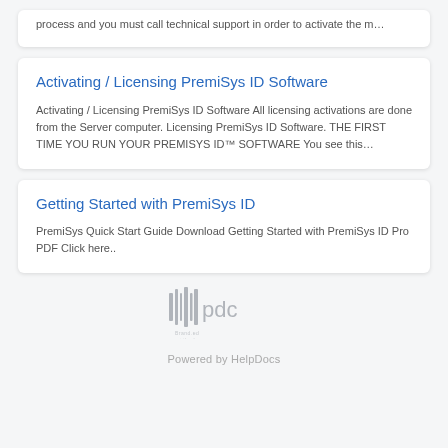process and you must call technical support in order to activate the m…
Activating / Licensing PremiSys ID Software
Activating / Licensing PremiSys ID Software All licensing activations are done from the Server computer. Licensing PremiSys ID Software. THE FIRST TIME YOU RUN YOUR PREMISYS ID™ SOFTWARE You see this…
Getting Started with PremiSys ID
PremiSys Quick Start Guide Download Getting Started with PremiSys ID Pro PDF Click here..
[Figure (logo): PDC logo with barcode-like icon and 'pdc' text]
Powered by HelpDocs